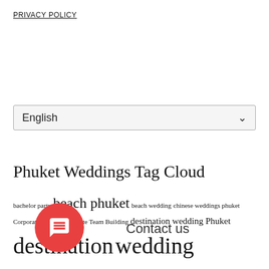PRIVACY POLICY
[Figure (screenshot): Language selector dropdown showing 'English' with a chevron arrow]
Phuket Weddings Tag Cloud
bachelor party beach phuket beach wedding chinese weddings phuket Corporate Events Corporate Team Building destination wedding Phuket destination wedding Phuket destination wedding Thailand destination weddings phuket engagement Engagement in Phuket ... in phuket Events Phuket honeymoon in Phuket Indian wedding Indian weddings luxury wedding indian weddings phuket luxury villas for weddings Phuket marriage proposal marriage proposal in phuket phuket Phuket